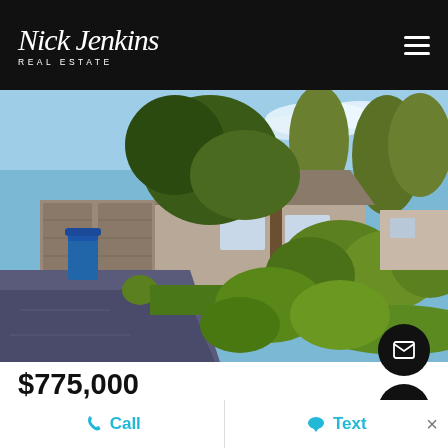Nick Jenkins REAL ESTATE
[Figure (photo): Exterior photo of a residential home with a large garage, driveway, lush greenery and trees under blue sky]
$775,000
3 Beds · 2 Baths · 1985266 MLS · PENDING INSPECTION Stat...
Call   Text   ×